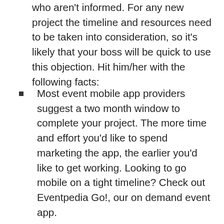who aren't informed. For any new project the timeline and resources need to be taken into consideration, so it's likely that your boss will be quick to use this objection. Hit him/her with the following facts:
Most event mobile app providers suggest a two month window to complete your project. The more time and effort you'd like to spend marketing the app, the earlier you'd like to get working. Looking to go mobile on a tight timeline? Check out Eventpedia Go!, our on demand event app.
Getting data into the backend of the mobile app will be the most time-consuming part of your project. To combat the workload, our user-friendly backend portal uses a very simple data sheet upload. For an even speedier process, we integrate with multiple